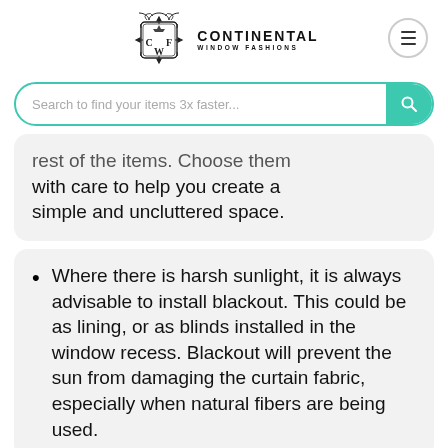[Figure (logo): Continental Window Fashions logo with decorative frame containing letters C, F, W and a crown, alongside brand name text]
Search to find your items 3x faster...
rest of the items. Choose them with care to help you create a simple and uncluttered space.
Where there is harsh sunlight, it is always advisable to install blackout. This could be as lining, or as blinds installed in the window recess. Blackout will prevent the sun from damaging the curtain fabric, especially when natural fibers are being used.